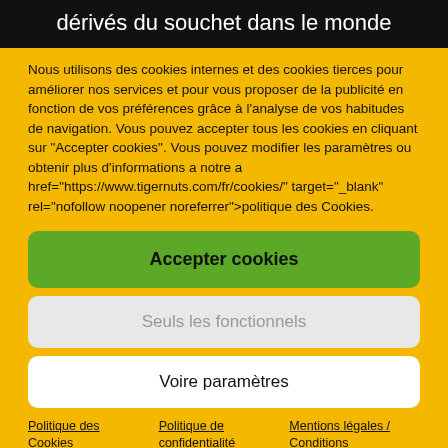dérivés du souchet dans le monde
Nous utilisons des cookies internes et des cookies tierces pour améliorer nos services et pour vous proposer de la publicité en fonction de vos préférences grâce à l'analyse de vos habitudes de navigation. Vous pouvez accepter tous les cookies en cliquant sur "Accepter cookies". Vous pouvez modifier les paramètres ou obtenir plus d'informations a notre a href="https://www.tigernuts.com/fr/cookies/" target="_blank" rel="nofollow noopener noreferrer">politique des Cookies.
Accepter cookies
Seuls les fonctionnels
Voire paramètres
Politique des Cookies
Politique de confidentialité
Mentions légales / Conditions d'utilisation